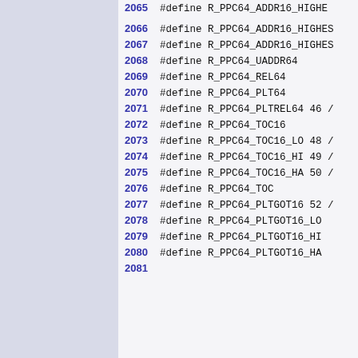2066 #define R_PPC64_ADDR16_HIGHES
2067 #define R_PPC64_ADDR16_HIGHES
2068 #define R_PPC64_UADDR64
2069 #define R_PPC64_REL64
2070 #define R_PPC64_PLT64
2071 #define R_PPC64_PLTREL64 46 /
2072 #define R_PPC64_TOC16
2073 #define R_PPC64_TOC16_LO 48 /
2074 #define R_PPC64_TOC16_HI 49 /
2075 #define R_PPC64_TOC16_HA 50 /
2076 #define R_PPC64_TOC
2077 #define R_PPC64_PLTGOT16 52 /
2078 #define R_PPC64_PLTGOT16_LO
2079 #define R_PPC64_PLTGOT16_HI
2080 #define R_PPC64_PLTGOT16_HA
2081